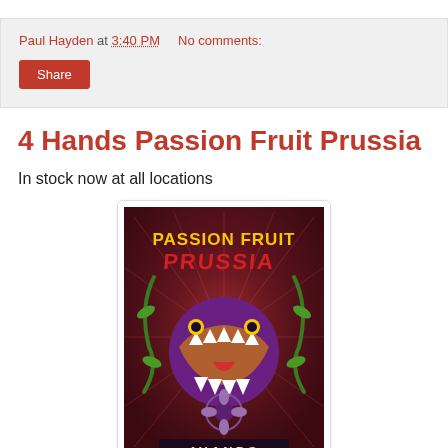Paul Hayden at 3:40 PM   No comments:
Share
4 Hands Passion Fruit Prussia
In stock now at all locations
[Figure (illustration): Beer label for 4 Hands Passion Fruit Prussia showing a purple creature with sharp teeth, yellow text reading PASSION FRUIT PRUSSIA, green vines, and 4 Hands branding at the bottom on a dark red/purple background.]